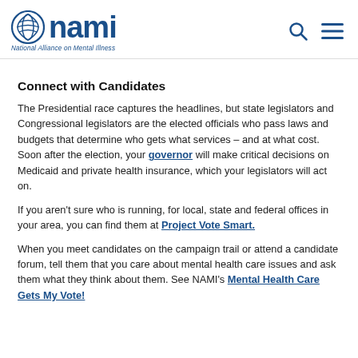NAMI — National Alliance on Mental Illness
Connect with Candidates
The Presidential race captures the headlines, but state legislators and Congressional legislators are the elected officials who pass laws and budgets that determine who gets what services – and at what cost. Soon after the election, your governor will make critical decisions on Medicaid and private health insurance, which your legislators will act on.
If you aren't sure who is running, for local, state and federal offices in your area, you can find them at Project Vote Smart.
When you meet candidates on the campaign trail or attend a candidate forum, tell them that you care about mental health care issues and ask them what they think about them. See NAMI's Mental Health Care Gets My Vote!